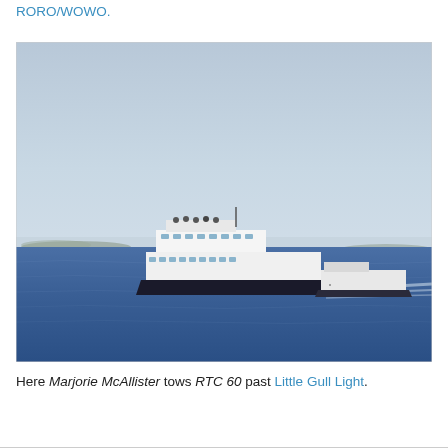RORO/WOWO.
[Figure (photo): A white ferry vessel (Marjorie McAllister) towing a flat barge (RTC 60) across open blue water, with a distant shoreline visible on the horizon under a hazy blue-grey sky.]
Here Marjorie McAllister tows RTC 60 past Little Gull Light.